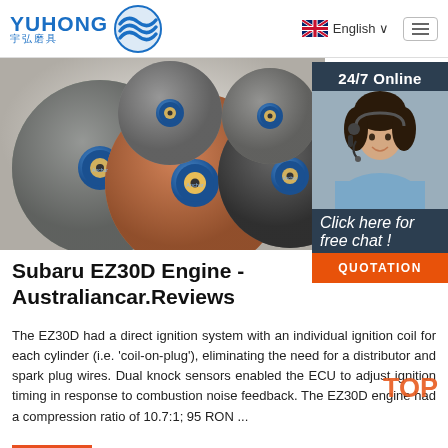[Figure (logo): YUHONG 宇弘磨具 logo with blue wave/circular icon]
English ∨
[Figure (photo): Product photo of multiple abrasive/grinding discs in various colors (grey, orange, dark) with blue-labeled centers, arranged overlapping on white background]
[Figure (photo): 24/7 Online chat widget with customer service agent photo (woman with headset), 'Click here for free chat!' text, and orange QUOTATION button]
Subaru EZ30D Engine - Australiancar.Reviews
The EZ30D had a direct ignition system with an individual ignition coil for each cylinder (i.e. 'coil-on-plug'), eliminating the need for a distributor and spark plug wires. Dual knock sensors enabled the ECU to adjust ignition timing in response to combustion noise feedback. The EZ30D engine had a compression ratio of 10.7:1; 95 RON ...